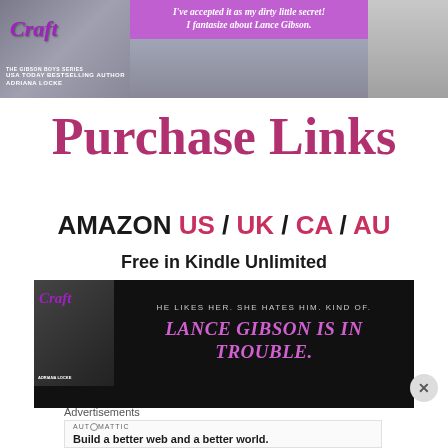[Figure (photo): Book cover for 'Craft' by Adriana Locke with purple stylized title script, shown alongside a photo of people in casual wear and a purple banner quote: "I've accepted it as my dirty little secret! I fantasize about Lance Gibson."]
Purchase Links
AMAZON US / UK / CA / AU
Free in Kindle Unlimited
[Figure (photo): Promotional banner for 'Craft' by Adriana Locke showing book cover on black background with tagline 'HE LIKES HER. SHE HATES HIM. KIND OF.' and headline 'LANCE GIBSON IS IN TROUBLE.']
Advertisements
AUTOMATTIC
Build a better web and a better world.